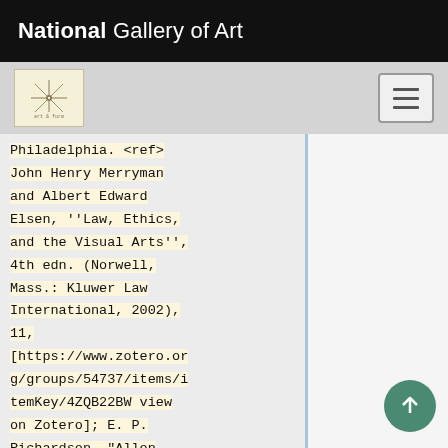National Gallery of Art
[Figure (logo): Navigation bar with art compass/star logo on left and hamburger menu button on right]
Philadelphia. <ref> John Henry Merryman and Albert Edward Elsen, ''Law, Ethics, and the Visual Arts'', 4th edn. (Norwell, Mass.: Kluwer Law International, 2002), 11, [https://www.zotero.org/groups/54737/items/itemKey/4ZQB22BW view on Zotero]; E. P. Richardson, "Allen Smith, Collector and Benefactor," ''American Art